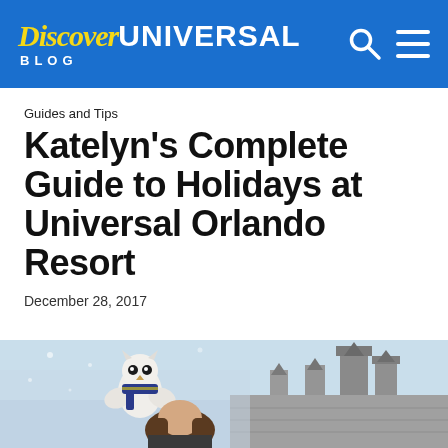Discover UNIVERSAL BLOG
Guides and Tips
Katelyn’s Complete Guide to Holidays at Universal Orlando Resort
December 28, 2017
[Figure (photo): A woman at the Wizarding World of Harry Potter with a Hedwig owl stuffed animal/character, Hogwarts castle visible in the background, winter/holiday setting with snow effects]